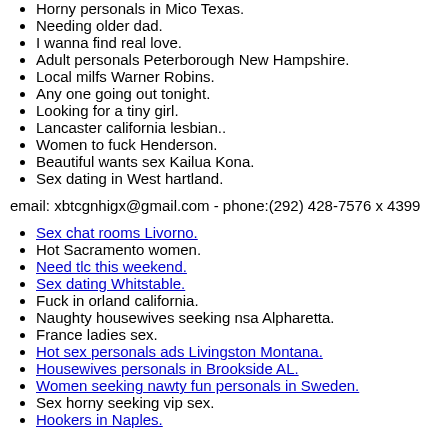Horny personals in Mico Texas.
Needing older dad.
I wanna find real love.
Adult personals Peterborough New Hampshire.
Local milfs Warner Robins.
Any one going out tonight.
Looking for a tiny girl.
Lancaster california lesbian..
Women to fuck Henderson.
Beautiful wants sex Kailua Kona.
Sex dating in West hartland.
email: xbtcgnhigx@gmail.com - phone:(292) 428-7576 x 4399
Sex chat rooms Livorno.
Hot Sacramento women.
Need tlc this weekend.
Sex dating Whitstable.
Fuck in orland california.
Naughty housewives seeking nsa Alpharetta.
France ladies sex.
Hot sex personals ads Livingston Montana.
Housewives personals in Brookside AL.
Women seeking nawty fun personals in Sweden.
Sex horny seeking vip sex.
Hookers in Naples.